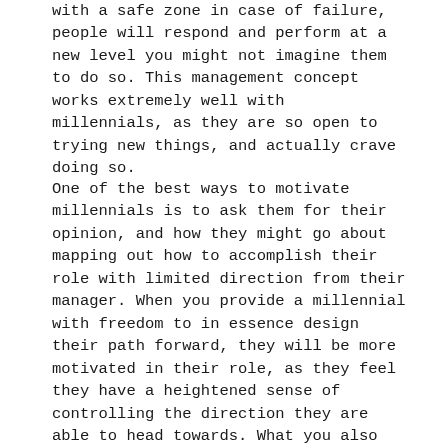with a safe zone in case of failure, people will respond and perform at a new level you might not imagine them to do so. This management concept works extremely well with millennials, as they are so open to trying new things, and actually crave doing so.
One of the best ways to motivate millennials is to ask them for their opinion, and how they might go about mapping out how to accomplish their role with limited direction from their manager. When you provide a millennial with freedom to in essence design their path forward, they will be more motivated in their role, as they feel they have a heightened sense of controlling the direction they are able to head towards. What you also might be surprised by, is that they will also be more willing to collaborate with the management team and their team peers because they do not feel the pressure of traditional methods of management constraint.